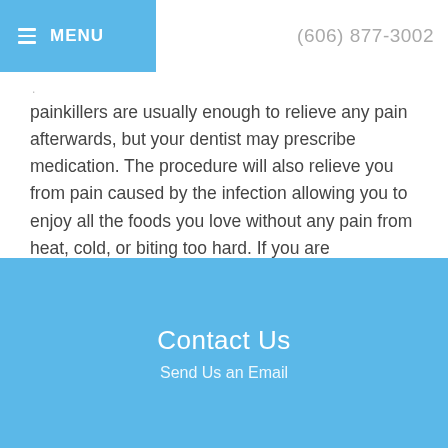MENU  (606) 877-3002
painkillers are usually enough to relieve any pain afterwards, but your dentist may prescribe medication. The procedure will also relieve you from pain caused by the infection allowing you to enjoy all the foods you love without any pain from heat, cold, or biting too hard. If you are experiencing pain consult your dentist today.
Contact Us
Send Us an Email